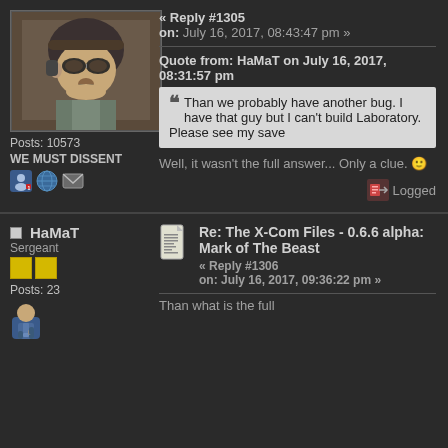[Figure (photo): Avatar of a game character wearing a helmet and goggles]
Posts: 10573
WE MUST DISSENT
« Reply #1305
on: July 16, 2017, 08:43:47 pm »
Quote from: HaMaT on July 16, 2017, 08:31:57 pm
Than we probably have another bug. I have that guy but I can't build Laboratory. Please see my save
Well, it wasn't the full answer... Only a clue. 🙂
Logged
HaMaT
Sergeant
Posts: 23
Re: The X-Com Files - 0.6.6 alpha: Mark of The Beast
« Reply #1306
on: July 16, 2017, 09:36:22 pm »
Than what is the full